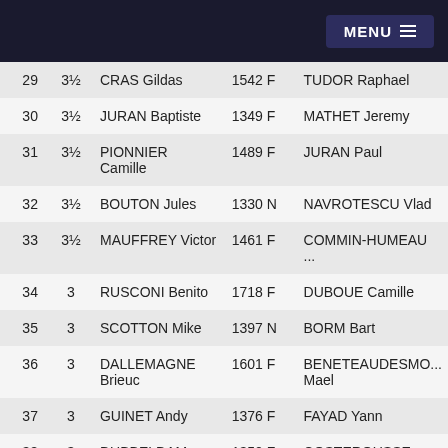MENU
| # | Score | Name | Rating | Opponent |
| --- | --- | --- | --- | --- |
| 29 | 3½ | CRAS Gildas | 1542 F | TUDOR Raphael |
| 30 | 3½ | JURAN Baptiste | 1349 F | MATHET Jeremy |
| 31 | 3½ | PIONNIER Camille | 1489 F | JURAN Paul |
| 32 | 3½ | BOUTON Jules | 1330 N | NAVROTESCU Vlad |
| 33 | 3½ | MAUFFREY Victor | 1461 F | COMMIN-HUMEAU ... |
| 34 | 3 | RUSCONI Benito | 1718 F | DUBOUE Camille |
| 35 | 3 | SCOTTON Mike | 1397 N | BORM Bart |
| 36 | 3 | DALLEMAGNE Brieuc | 1601 F | BENETEAUDESMO... Mael |
| 37 | 3 | GUINET Andy | 1376 F | FAYAD Yann |
| 38 | 3 | DUBBELDAM Mathijs | 1350 F | COSTEROUSSE Qu... |